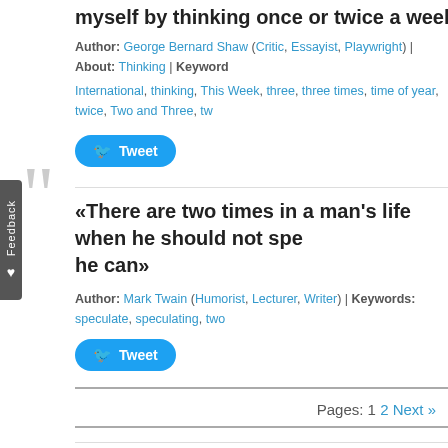myself by thinking once or twice a week.»
Author: George Bernard Shaw (Critic, Essayist, Playwright) | About: Thinking | Keywords: International, thinking, This Week, three, three times, time of year, twice, Two and Three, tw…
Tweet
«There are two times in a man's life when he should not spe… he can»
Author: Mark Twain (Humorist, Lecturer, Writer) | Keywords: speculate, speculating, two…
Tweet
Pages: 1  2  Next »
Browse thousands of free essays & term papers a…